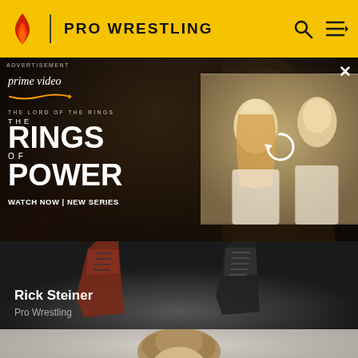PRO WRESTLING
[Figure (screenshot): Amazon Prime Video advertisement for 'The Lord of the Rings: The Rings of Power'. Shows a hooded creature/character on the left side with dark misty background, and two fair-haired characters on the right in a smaller overlapping panel. Text reads: prime video, THE LORD OF THE RINGS, THE, RINGS OF POWER, WATCH NOW | NEW SERIES. Close button X in top right.]
[Figure (photo): Close-up photo of wrestling boots from below, dark background, showing two pairs of boots — one reddish-brown lace-up on the left, one black lace-up on the right. Rick Steiner content card overlay.]
Rick Steiner
Pro Wrestling
[Figure (photo): Bottom partial photo showing head and shoulders of a curly-haired male wrestler (Rick Steiner) against a light grey background, cropped at bottom of page.]